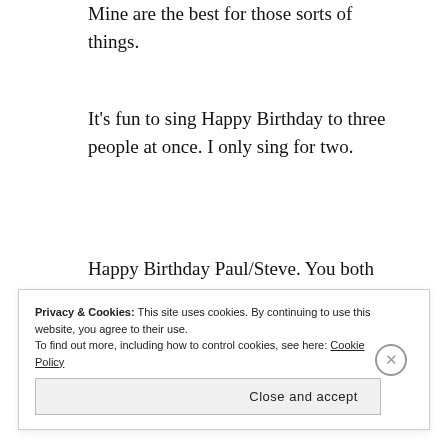Mine are the best for those sorts of things.
It's fun to sing Happy Birthday to three people at once. I only sing for two.
Happy Birthday Paul/Steve. You both crack me up and are the two best big brothers any thirty-three-year-old could ask for.
Privacy & Cookies: This site uses cookies. By continuing to use this website, you agree to their use. To find out more, including how to control cookies, see here: Cookie Policy
Close and accept